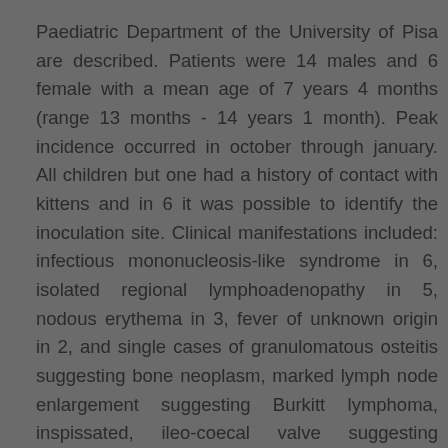Paediatric Department of the University of Pisa are described. Patients were 14 males and 6 female with a mean age of 7 years 4 months (range 13 months - 14 years 1 month). Peak incidence occurred in october through january. All children but one had a history of contact with kittens and in 6 it was possible to identify the inoculation site. Clinical manifestations included: infectious mononucleosis-like syndrome in 6, isolated regional lymphoadenopathy in 5, nodous erythema in 3, fever of unknown origin in 2, and single cases of granulomatous osteitis suggesting bone neoplasm, marked lymph node enlargement suggesting Burkitt lymphoma, inspissated, ileo-coecal valve suggesting Crohn's disease, Parinaud's oculoglandular syndrome and acute encephalitis. B. henselae infection is frequent in our geographic area, atypical clinical manifestation are the most frequent